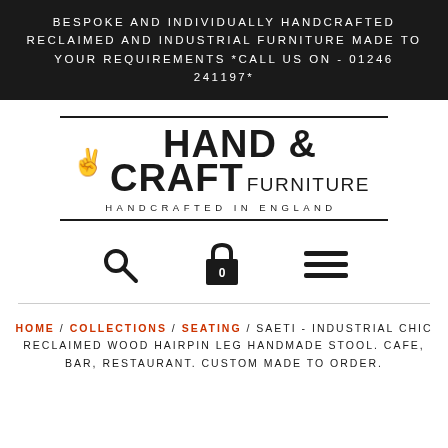BESPOKE AND INDIVIDUALLY HANDCRAFTED RECLAIMED AND INDUSTRIAL FURNITURE MADE TO YOUR REQUIREMENTS *CALL US ON - 01246 241197*
[Figure (logo): Hand & Craft Furniture logo with hand icon, double horizontal rules top and bottom, and tagline HANDCRAFTED IN ENGLAND]
[Figure (infographic): Navigation icons: search magnifying glass, shopping basket with 0, and hamburger menu]
HOME / COLLECTIONS / SEATING / SAETI - INDUSTRIAL CHIC RECLAIMED WOOD HAIRPIN LEG HANDMADE STOOL. CAFE, BAR, RESTAURANT. CUSTOM MADE TO ORDER.